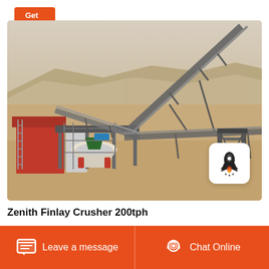Get Price
[Figure (photo): Aerial/elevated view of a Zenith Finlay cone crusher plant (200tph) installed in an arid desert environment, showing industrial cone crusher machinery on a raised platform with conveyor belts extending diagonally, red-roofed support building, scaffolding, and dry sandy terrain in the background.]
Zenith Finlay Crusher 200tph
Leave a message   Chat Online